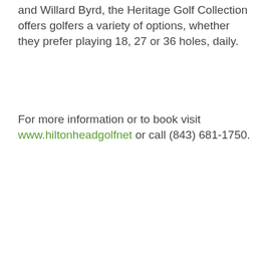and Willard Byrd, the Heritage Golf Collection offers golfers a variety of options, whether they prefer playing 18, 27 or 36 holes, daily.
For more information or to book visit www.hiltonheadgolfnet or call (843) 681-1750.